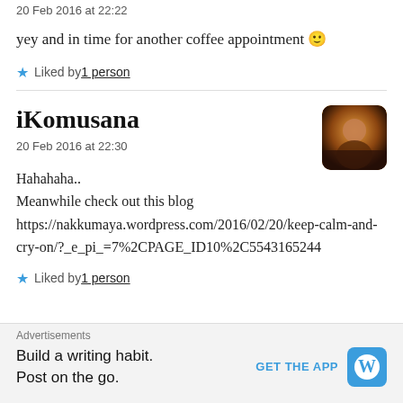20 Feb 2016 at 22:22
yey and in time for another coffee appointment 🙂
★ Liked by 1 person
iKomusana
20 Feb 2016 at 22:30
Hahahaha..
Meanwhile check out this blog
https://nakkumaya.wordpress.com/2016/02/20/keep-calm-and-cry-on/?_e_pi_=7%2CPAGE_ID10%2C5543165244
★ Liked by 1 person
Advertisements
Build a writing habit. Post on the go.
GET THE APP